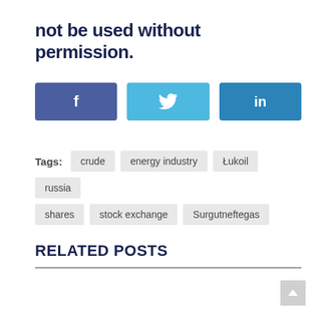not be used without permission.
[Figure (infographic): Three social media share buttons: Facebook (dark blue with 'f' icon), Twitter (light blue with bird icon), LinkedIn (medium blue with 'in' icon)]
Tags: crude  energy industry  Łukoil  russia  shares  stock exchange  Surgutneftegas
RELATED POSTS